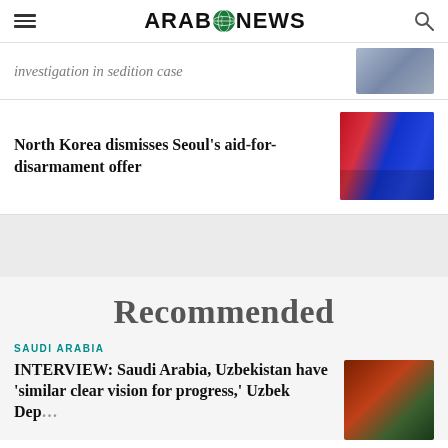ARAB NEWS
investigation in sedition case
North Korea dismisses Seoul's aid-for-disarmament offer
Recommended
SAUDI ARABIA
INTERVIEW: Saudi Arabia, Uzbekistan have 'similar clear vision for progress,' Uzbek Dep...